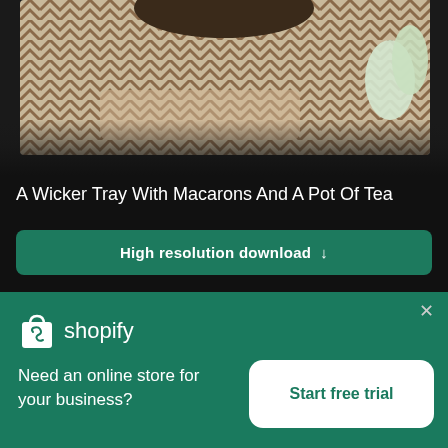[Figure (photo): Top portion of a photo showing a wicker tray with macarons and a pot of tea on a chevron-patterned surface with white flowers, dark background]
A Wicker Tray With Macarons And A Pot Of Tea
High resolution download ↓
[Figure (photo): Partial photo of a person holding a smartphone (dark green phone) with blurred background]
[Figure (logo): Shopify logo — white shopping bag icon with 'shopify' text in white]
Need an online store for your business?
Start free trial